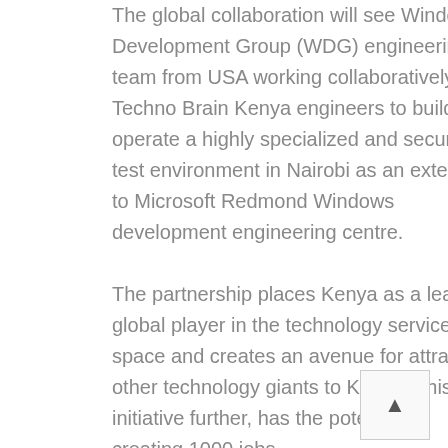The global collaboration will see Windows Development Group (WDG) engineering team from USA working collaboratively with Techno Brain Kenya engineers to build and operate a highly specialized and secured test environment in Nairobi as an extension to Microsoft Redmond Windows development engineering centre. The partnership places Kenya as a leading global player in the technology services space and creates an avenue for attracting other technology giants to Kenya. This initiative further, has the potential of creating 1000 jobs